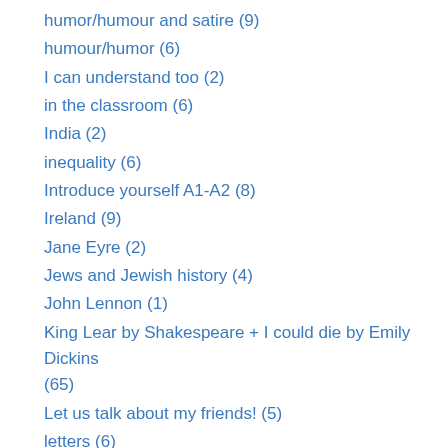humor/humour and satire (9)
humour/humor (6)
I can understand too (2)
in the classroom (6)
India (2)
inequality (6)
Introduce yourself A1-A2 (8)
Ireland (9)
Jane Eyre (2)
Jews and Jewish history (4)
John Lennon (1)
King Lear by Shakespeare + I could die by Emily Dickins (65)
Let us talk about my friends! (5)
letters (6)
listening comprehension (47)
London (2)
Mix it up tree for a Mix it up day Collège Lucie Aubra…